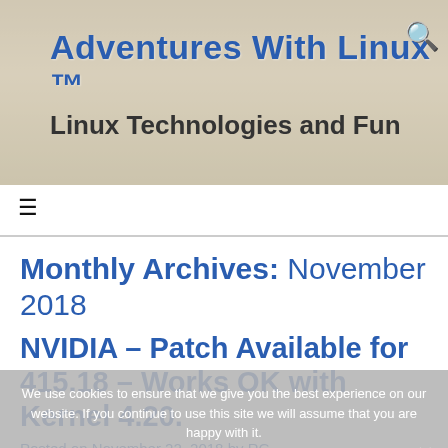Adventures With Linux ™
Linux Technologies and Fun
Monthly Archives: November 2018
NVIDIA – Patch Available for 415.18 – Works OK with Kernel 4.20.
Posted on November 22, 2018 by RG
Thanks to loqs, there is now a viable patch for NVIDIA and Kernel 4.20. I applied the patch to driver 415.18, and tested with Kernel 4.20, and the driver compiles
We use cookies to ensure that we give you the best experience on our website. If you continue to use this site we will assume that you are happy with it.